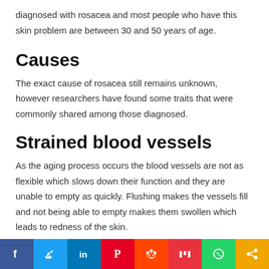diagnosed with rosacea and most people who have this skin problem are between 30 and 50 years of age.
Causes
The exact cause of rosacea still remains unknown, however researchers have found some traits that were commonly shared among those diagnosed.
Strained blood vessels
As the aging process occurs the blood vessels are not as flexible which slows down their function and they are unable to empty as quickly. Flushing makes the vessels fill and not being able to empty makes them swollen which leads to redness of the skin.
[Figure (infographic): Social media sharing bar with icons for Facebook, Twitter, LinkedIn, Pinterest, Reddit, Mix, WhatsApp, and Share]